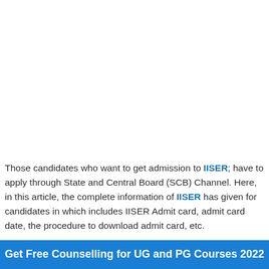Those candidates who want to get admission to IISER; have to apply through State and Central Board (SCB) Channel. Here, in this article, the complete information of IISER has given for candidates in which includes IISER Admit card, admit card date, the procedure to download admit card, etc.
Get Free Counselling for UG and PG Courses 2022